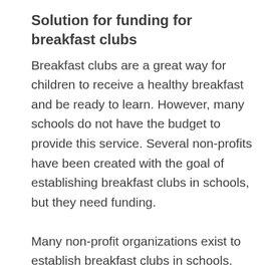Solution for funding for breakfast clubs
Breakfast clubs are a great way for children to receive a healthy breakfast and be ready to learn. However, many schools do not have the budget to provide this service. Several non-profits have been created with the goal of establishing breakfast clubs in schools, but they need funding.
Many non-profit organizations exist to establish breakfast clubs in schools. One such organization is Breakfast for Better Days. This organization establishes home-